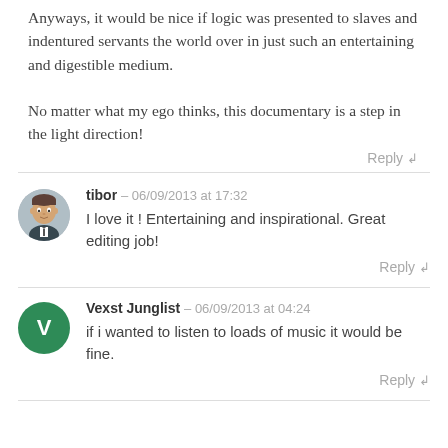Anyways, it would be nice if logic was presented to slaves and indentured servants the world over in just such an entertaining and digestible medium.

No matter what my ego thinks, this documentary is a step in the light direction!
Reply ↲
tibor - 06/09/2013 at 17:32
I love it ! Entertaining and inspirational. Great editing job!
Reply ↲
Vexst Junglist - 06/09/2013 at 04:24
if i wanted to listen to loads of music it would be fine.
Reply ↲